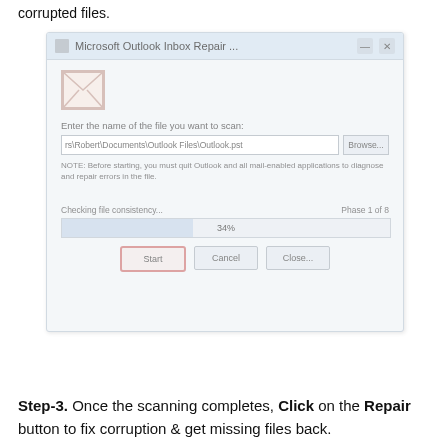corrupted files.
[Figure (screenshot): Microsoft Outlook Inbox Repair tool dialog showing a progress bar at 34%, Phase 1 of 8, with Start, Cancel, and Close buttons. The Start button is highlighted with a red/pink border.]
Step-3. Once the scanning completes, Click on the Repair button to fix corruption & get missing files back.